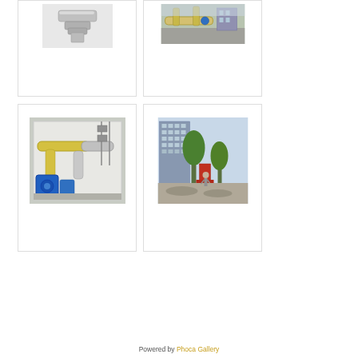[Figure (photo): Industrial/mechanical equipment - partial view of pipes or machinery components, gray metallic, top portion only visible]
[Figure (photo): Outdoor industrial pipes and valves with yellow fittings on a rooftop or terrace area]
[Figure (photo): Interior view of mechanical room showing blue pumps and yellow/silver insulated pipes mounted in a white enclosure]
[Figure (photo): Outdoor area with a tall modern glass/concrete building in background, trees, and a person walking on a path]
Powered by Phoca Gallery